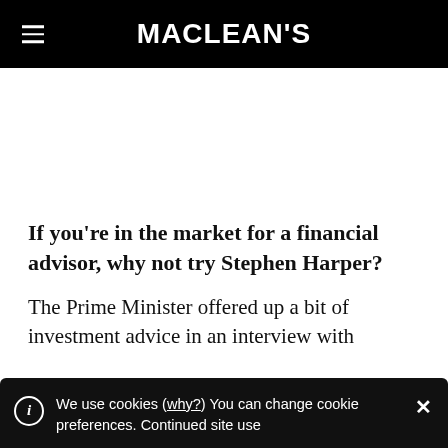MACLEAN'S
If you're in the market for a financial advisor, why not try Stephen Harper?
The Prime Minister offered up a bit of investment advice in an interview with
We use cookies (why?) You can change cookie preferences. Continued site use